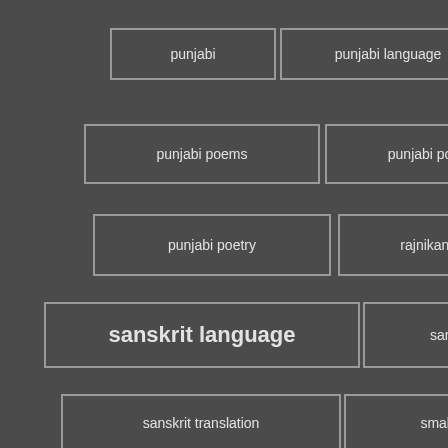punjabi
punjabi language
punjabi poem
punjabi poems
punjabi poems in punjabi language
punjabi poetry
rajnikanth jokes
sanskrit
sanskrit language
sanskrit names
sanskrit tattoo
sanskrit translation
small business ideas
SMB
SME
startups
tamil
tamil language
travel
tutorial